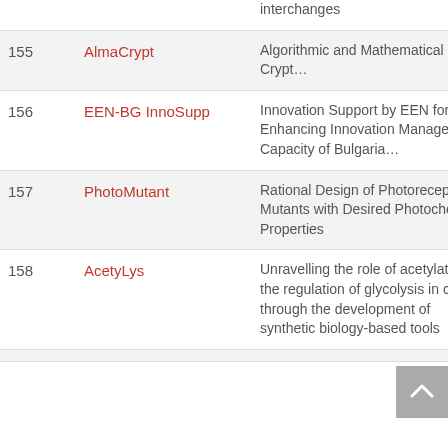| # | Name | Description |
| --- | --- | --- |
|  |  | interchanges |
| 155 | AlmaCrypt | Algorithmic and Mathematical Crypt… |
| 156 | EEN-BG InnoSupp | Innovation Support by EEN for Enhancing Innovation Management Capacity of Bulgaria… |
| 157 | PhotoMutant | Rational Design of Photoreceptor Mutants with Desired Photochemical Properties |
| 158 | AcetyLys | Unravelling the role of acetylation in the regulation of glycolysis in cancer through the development of synthetic biology-based tools |